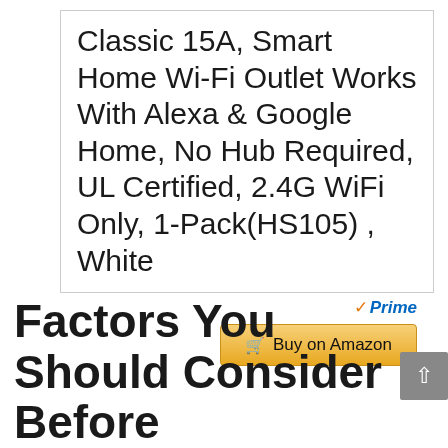Classic 15A, Smart Home Wi-Fi Outlet Works With Alexa & Google Home, No Hub Required, UL Certified, 2.4G WiFi Only, 1-Pack(HS105) , White
[Figure (logo): Amazon Prime badge with orange checkmark and blue Prime text, plus a yellow 'Buy on Amazon' button with cart icon]
Factors You Should Consider Before